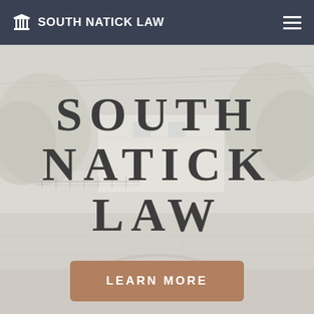SOUTH NATICK LAW
SOUTH NATICK LAW
[Figure (photo): Background photo of a New England stone bridge and house with trees, muted/washed out tones used as hero image backdrop]
LEARN MORE